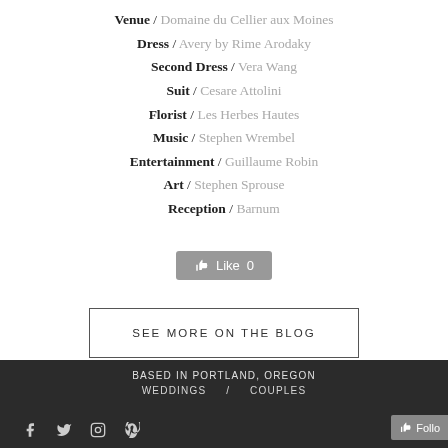Venue / Domaine du Cellier aux Moines
Dress / Avery by Rime Arodaky
Second Dress / Vera Wang
Suit / Cesare Attolini
Florist / Les Herbes Hautes
Music / Stephen Wrembel
Entertainment / Guillaume Robin
Art / Stephen Sprouse
Reception / Barnum
[Figure (other): Facebook Like button showing count of 0]
SEE MORE ON THE BLOG
BASED IN PORTLAND, OREGON  WEDDINGS / COUPLES  [social icons] [Follow button]